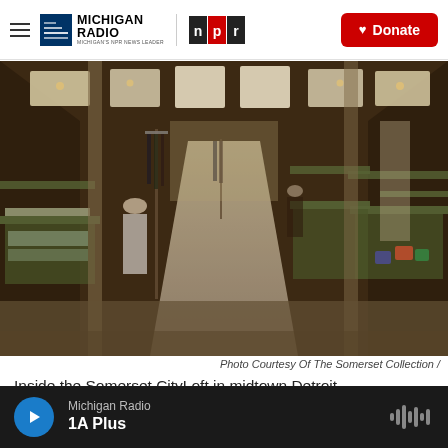Michigan Radio | NPR | Donate
[Figure (photo): Interior of the Somerset CityLoft retail store in midtown Detroit, showing clothing racks, display shelves with handbags and accessories, and track lighting overhead]
Photo Courtesy Of The Somerset Collection /
Inside the Somerset CityLoft in midtown Detroit
Michigan Radio
1A Plus